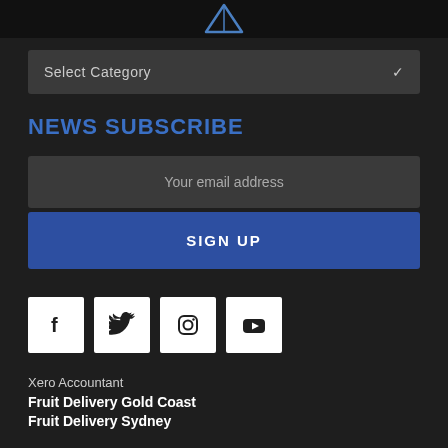[Figure (logo): Partial logo at top center on dark black bar]
Select Category
NEWS SUBSCRIBE
Your email address
SIGN UP
[Figure (infographic): Four social media icons: Facebook, Twitter, Instagram, YouTube — white square boxes with dark icons]
Xero Accountant
Fruit Delivery Gold Coast
Fruit Delivery Sydney